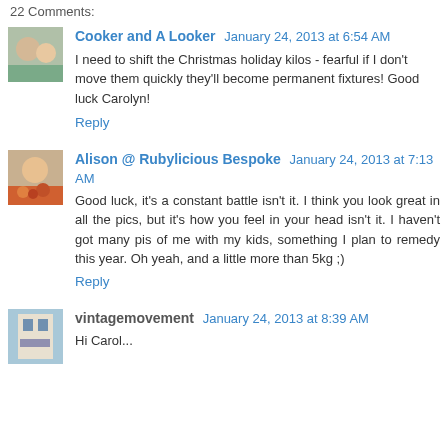22 Comments:
Cooker and A Looker  January 24, 2013 at 6:54 AM
I need to shift the Christmas holiday kilos - fearful if I don't move them quickly they'll become permanent fixtures! Good luck Carolyn!
Reply
Alison @ Rubylicious Bespoke  January 24, 2013 at 7:13 AM
Good luck, it's a constant battle isn't it. I think you look great in all the pics, but it's how you feel in your head isn't it. I haven't got many pis of me with my kids, something I plan to remedy this year. Oh yeah, and a little more than 5kg ;)
Reply
vintagemovement  January 24, 2013 at 8:39 AM
Hi Carol...